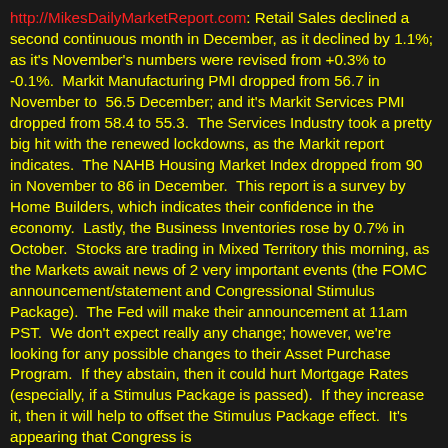http://MikesDailyMarketReport.com: Retail Sales declined a second continuous month in December, as it declined by 1.1%; as it's November's numbers were revised from +0.3% to -0.1%.  Markit Manufacturing PMI dropped from 56.7 in November to  56.5 December; and it's Markit Services PMI dropped from 58.4 to 55.3.  The Services Industry took a pretty big hit with the renewed lockdowns, as the Markit report indicates.  The NAHB Housing Market Index dropped from 90 in November to 86 in December.  This report is a survey by Home Builders, which indicates their confidence in the economy.  Lastly, the Business Inventories rose by 0.7% in October.  Stocks are trading in Mixed Territory this morning, as the Markets await news of 2 very important events (the FOMC announcement/statement and Congressional Stimulus Package).  The Fed will make their announcement at 11am PST.  We don't expect really any change; however, we're looking for any possible changes to their Asset Purchase Program.  If they abstain, then it could hurt Mortgage Rates (especially, if a Stimulus Package is passed).  If they increase it, then it will help to offset the Stimulus Package effect.  It's appearing that Congress is